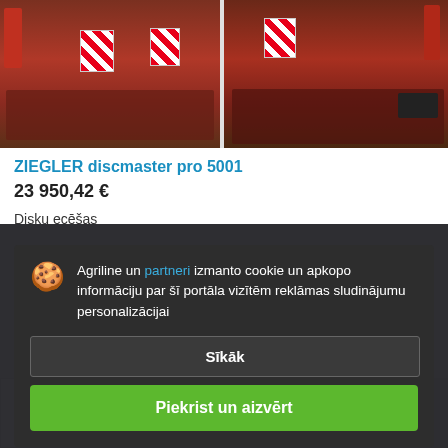[Figure (photo): Two photos of a red ZIEGLER discmaster pro 5001 disc harrow agricultural machine, shown side by side]
ZIEGLER discmaster pro 5001
23 950,42 €
Disku ecēšas
Gads: 2017-08-08
[Figure (screenshot): Cookie consent modal overlay on dark background with text: Agriline un partneri izmanto cookie un apkopo informāciju par šī portāla vizītēm reklāmas sludinājumu personalizācijai. Buttons: Sīkāk and Piekrist un aizvērt]